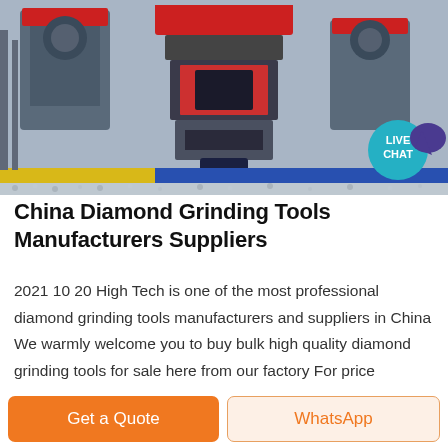[Figure (photo): Industrial machinery/crushing equipment in a factory setting with blue and yellow floor markings and gravel, with a LIVE CHAT badge overlay in the top-right corner]
China Diamond Grinding Tools Manufacturers Suppliers
2021 10 20 High Tech is one of the most professional diamond grinding tools manufacturers and suppliers in China We warmly welcome you to buy bulk high quality diamond grinding tools for sale here from our factory For price consultation contact us.
Get a Quote
WhatsApp